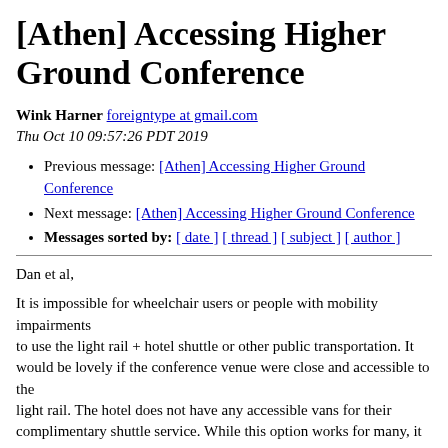[Athen] Accessing Higher Ground Conference
Wink Harner foreigntype at gmail.com
Thu Oct 10 09:57:26 PDT 2019
Previous message: [Athen] Accessing Higher Ground Conference
Next message: [Athen] Accessing Higher Ground Conference
Messages sorted by: [ date ] [ thread ] [ subject ] [ author ]
Dan et al,

It is impossible for wheelchair users or people with mobility impairments
to use the light rail + hotel shuttle or other public transportation. It would be lovely if the conference venue were close and accessible to the
light rail. The hotel does not have any accessible vans for their complimentary shuttle service. While this option works for many, it is not